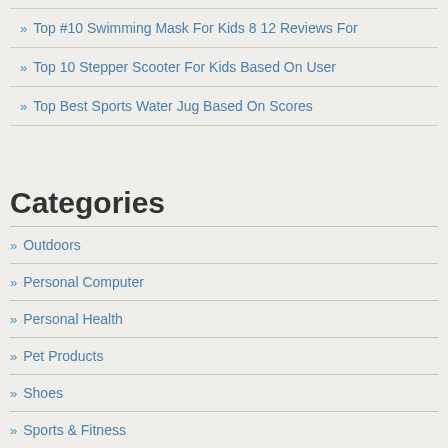Top #10 Swimming Mask For Kids 8 12 Reviews For
Top 10 Stepper Scooter For Kids Based On User
Top Best Sports Water Jug Based On Scores
Categories
Outdoors
Personal Computer
Personal Health
Pet Products
Shoes
Sports & Fitness